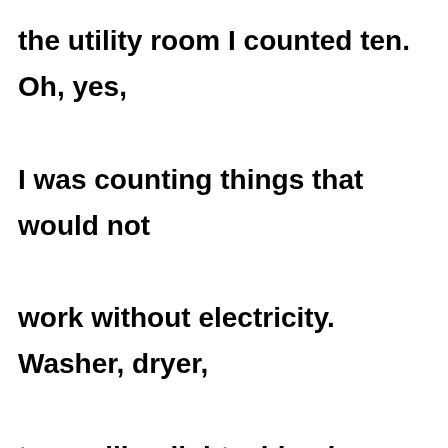the utility room I counted ten. Oh, yes, I was counting things that would not work without electricity. Washer, dryer, two ceiling lights, blender, electric knive, electric mixer, fragrance jigger, hot pot, flashlight.

Now why would I do that? Just